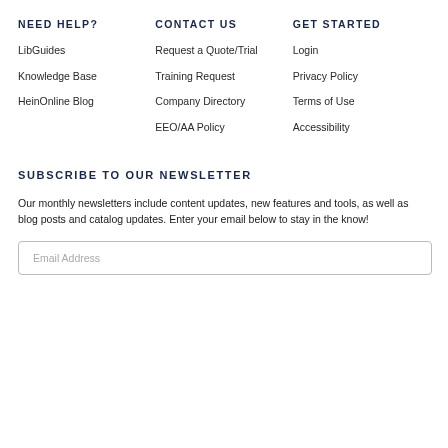NEED HELP?
CONTACT US
GET STARTED
LibGuides
Knowledge Base
HeinOnline Blog
Request a Quote/Trial
Training Request
Company Directory
EEO/AA Policy
Login
Privacy Policy
Terms of Use
Accessibility
SUBSCRIBE TO OUR NEWSLETTER
Our monthly newsletters include content updates, new features and tools, as well as blog posts and catalog updates. Enter your email below to stay in the know!